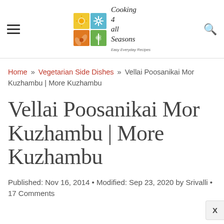Cooking 4 all Seasons — Easy Everyday Recipes
Home » Vegetarian Side Dishes » Vellai Poosanikai Mor Kuzhambu | More Kuzhambu
Vellai Poosanikai Mor Kuzhambu | More Kuzhambu
Published: Nov 16, 2014 • Modified: Sep 23, 2020 by Srivalli • 17 Comments